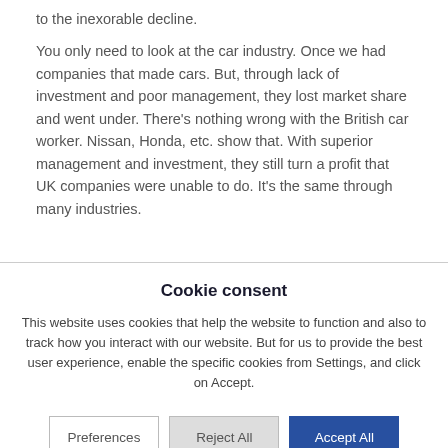to the inexorable decline.

You only need to look at the car industry. Once we had companies that made cars. But, through lack of investment and poor management, they lost market share and went under. There's nothing wrong with the British car worker. Nissan, Honda, etc. show that. With superior management and investment, they still turn a profit that UK companies were unable to do. It's the same through many industries.
Cookie consent
This website uses cookies that help the website to function and also to track how you interact with our website. But for us to provide the best user experience, enable the specific cookies from Settings, and click on Accept.